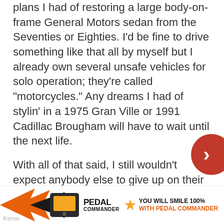plans I had of restoring a large body-on-frame General Motors sedan from the Seventies or Eighties. I'd be fine to drive something like that all by myself but I already own several unsafe vehicles for solo operation; they're called "motorcycles." Any dreams I had of stylin' in a 1975 Gran Ville or 1991 Cadillac Brougham will have to wait until the next life.
With all of that said, I still wouldn't expect anybody else to give up on their affection for big Fords, which leads us to this week's question.
[Figure (other): Advertisement banner for Pedal Commander showing product image with orange/black arrow graphic, Kenwood partial logo on left, Pedal Commander logo with star, and text 'YOU WILL SMILE 100% WITH PEDAL COMMANDER']